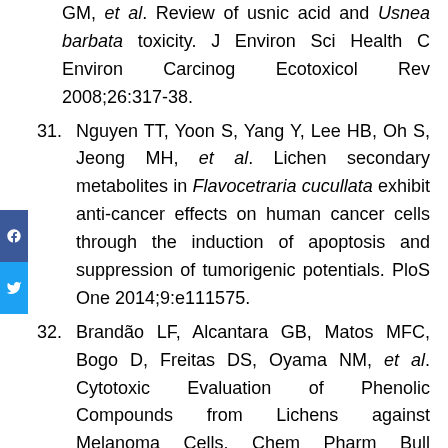(continuation of previous reference) GM, et al. Review of usnic acid and Usnea barbata toxicity. J Environ Sci Health C Environ Carcinog Ecotoxicol Rev 2008;26:317-38.
31. Nguyen TT, Yoon S, Yang Y, Lee HB, Oh S, Jeong MH, et al. Lichen secondary metabolites in Flavocetraria cucullata exhibit anti-cancer effects on human cancer cells through the induction of apoptosis and suppression of tumorigenic potentials. PloS One 2014;9:e111575.
32. Brandão LF, Alcantara GB, Matos MFC, Bogo D, Freitas DS, Oyama NM, et al. Cytotoxic Evaluation of Phenolic Compounds from Lichens against Melanoma Cells. Chem Pharm Bull 2013;61:176-83.